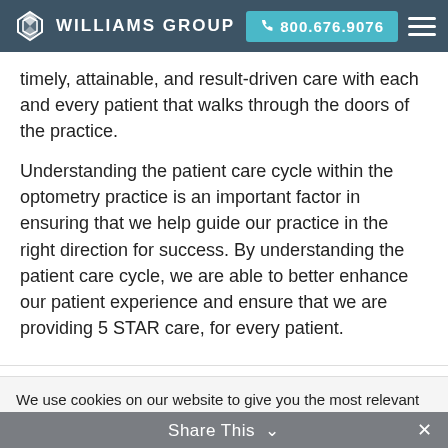WILLIAMS GROUP | 800.676.9076
timely, attainable, and result-driven care with each and every patient that walks through the doors of the practice.
Understanding the patient care cycle within the optometry practice is an important factor in ensuring that we help guide our practice in the right direction for success. By understanding the patient care cycle, we are able to better enhance our patient experience and ensure that we are providing 5 STAR care, for every patient.
We use cookies on our website to give you the most relevant experience by remembering your preferences and repeat visits. By clicking “Accept”, you consent to the use of ALL the cookies.
Cookie settings | ACCEPT
Share This